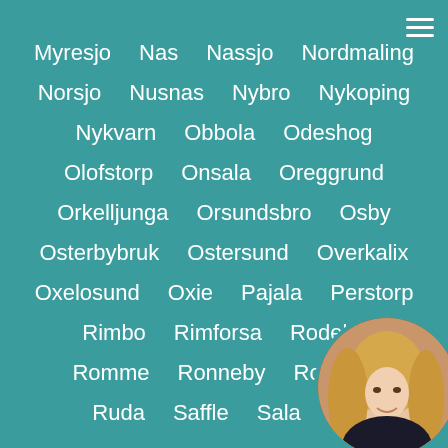Myresjo  Nas  Nassjo  Nordmaling
Norsjo  Nusnas  Nybro  Nykoping
Nykvarn  Obbola  Odeshog
Olofstorp  Onsala  Oreggrund
Orkelljunga  Orsundsbro  Osby
Osterbybruk  Ostersund  Overkalix
Oxelosund  Oxie  Pajala  Perstorp
Rimbo  Rimforsa  Rodeby
Romme  Ronneby  Rosersb...
Ruda  Saffle  Sala  Sa...
[Figure (photo): Circular avatar photo of a blonde woman in the bottom-right corner]